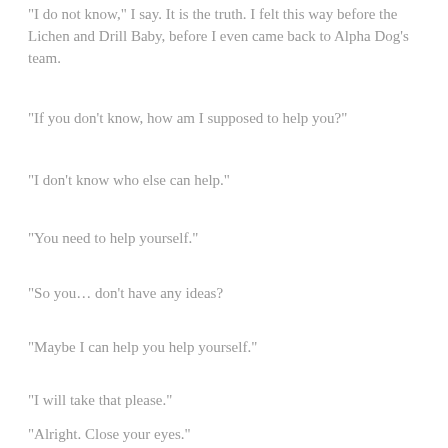“I do not know,” I say.  It is the truth.  I felt this way before the Lichen and Drill Baby, before I even came back to Alpha Dog’s team.
“If you don’t know, how am I supposed to help you?”
“I don’t know who else can help.”
“You need to help yourself.”
“So you… don’t have any ideas?
“Maybe I can help you help yourself.”
“I will take that please.”
“Alright.  Close your eyes.”